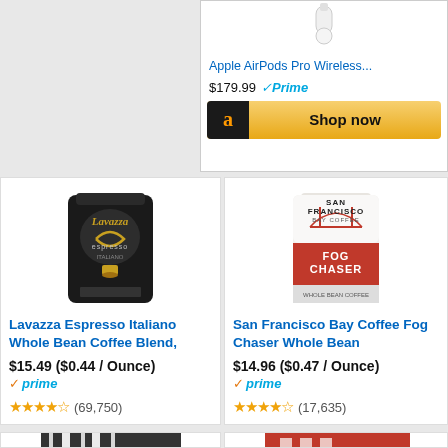[Figure (screenshot): Apple AirPods Pro product listing snippet with product image (partially visible at top), title 'Apple AirPods Pro Wireless...', price $179.99 with Prime badge, and a 'Shop now' button with Amazon logo on dark background and gold button]
[Figure (photo): Lavazza Espresso Italiano Whole Bean Coffee Blend dark bag with gold 'Lavazza' script and espresso cup graphic]
Lavazza Espresso Italiano Whole Bean Coffee Blend,
$15.49 ($0.44 / Ounce)
prime
(69,750)
[Figure (photo): San Francisco Bay Coffee Fog Chaser Whole Bean white/red bag with bridge graphic]
San Francisco Bay Coffee Fog Chaser Whole Bean
$14.96 ($0.47 / Ounce)
prime
(17,635)
[Figure (photo): Partially visible product at bottom left — striped black/white packaging]
[Figure (photo): Partially visible product at bottom right — red packaging]